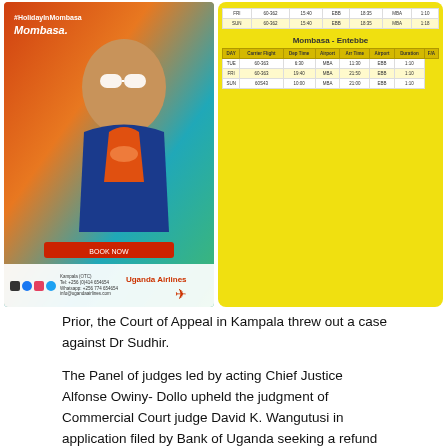[Figure (photo): Uganda Airlines advertisement showing a child with sunglasses and a flight schedule table for Entebbe-Mombasa and Mombasa-Entebbe routes on a yellow background]
Prior, the Court of Appeal in Kampala threw out a case against Dr Sudhir.
The Panel of judges led by acting Chief Justice Alfonse Owiny- Dollo upheld the judgment of Commercial Court judge David K. Wangutusi in application filed by Bank of Uganda seeking a refund of Shs397 billion from Sudhir which he allegedly siphoned from the defunct Crane Bank. Court dismissed case with costs.
Bank of Uganda/Crane Bank in receivership (BoU) had appealed against an August 26, 2019 ruling where the High Court Commercial division dismissed with costs, the multi-billion lawsuit.